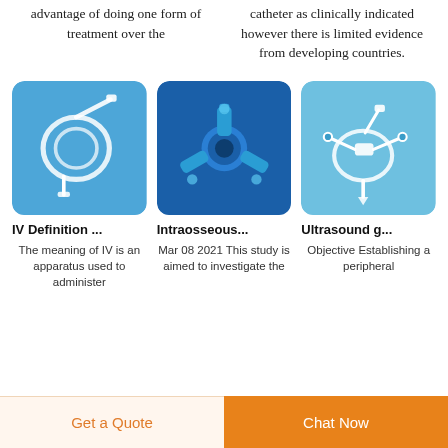advantage of doing one form of treatment over the
catheter as clinically indicated however there is limited evidence from developing countries.
[Figure (photo): IV catheter tube coiled on blue background]
[Figure (photo): Intraosseous device with multiple ports on dark blue background]
[Figure (photo): Ultrasound-guided peripheral IV catheter set on light blue background]
IV Definition ...
The meaning of IV is an apparatus used to administer
Intraosseous...
Mar 08 2021  This study is aimed to investigate the
Ultrasound g...
Objective Establishing a peripheral